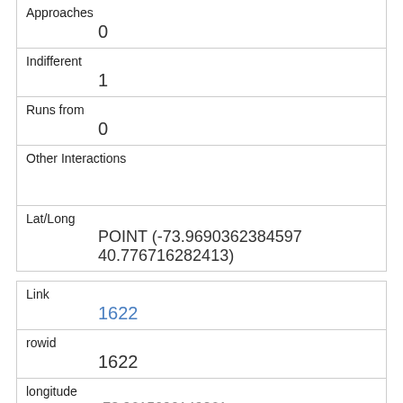| Approaches | 0 |
| Indifferent | 1 |
| Runs from | 0 |
| Other Interactions |  |
| Lat/Long | POINT (-73.9690362384597 40.776716282413) |
| Link | 1622 |
| rowid | 1622 |
| longitude | -73.9615090149261 |
| latitude | 40.794515017391795 |
| Unique Squirrel ID |  |